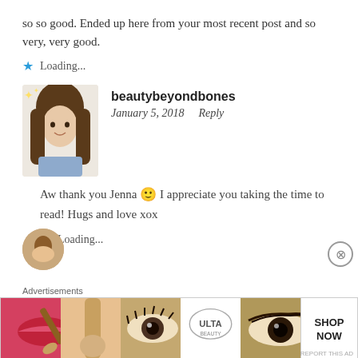so so good. Ended up here from your most recent post and so very, very good.
Loading...
beautybeyondbones
January 5, 2018   Reply
Aw thank you Jenna 🙂 I appreciate you taking the time to read! Hugs and love xox
Loading...
[Figure (photo): Partial avatar photo of another commenter at bottom]
[Figure (photo): Advertisement banner: ULTA beauty shop now with makeup product images]
Advertisements